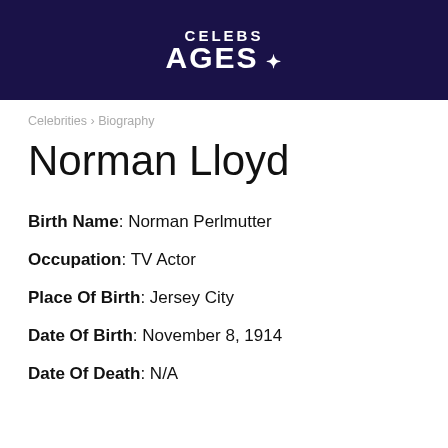CELEBS AGES
Celebrities › Biography
Norman Lloyd
Birth Name: Norman Perlmutter
Occupation: TV Actor
Place Of Birth: Jersey City
Date Of Birth: November 8, 1914
Date Of Death: N/A